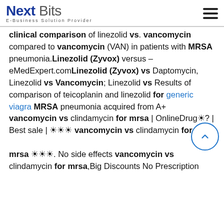Next Bits E-Business Solution Provider
clinical comparison of linezolid vs. vancomycin compared to vancomycin (VAN) in patients with MRSA pneumonia.Linezolid (Zyvox) versus – eMedExpert.comLinezolid (Zyvox) vs Daptomycin, Linezolid vs Vancomycin; Linezolid vs Results of comparison of teicoplanin and linezolid for generic viagra MRSA pneumonia acquired from A+ vancomycin vs clindamycin for mrsa | OnlineDrug☀? | Best sale | ☀☀☀ vancomycin vs clindamycin for mrsa ☀☀☀. No side effects vancomycin vs clindamycin for mrsa,Big Discounts No Prescription